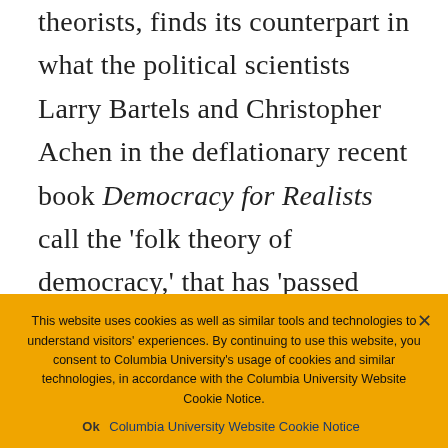theorists, finds its counterpart in what the political scientists Larry Bartels and Christopher Achen in the deflationary recent book Democracy for Realists call the 'folk theory of democracy,' that has 'passed into everyday wisdom, not just in the United States but in a
This website uses cookies as well as similar tools and technologies to understand visitors' experiences. By continuing to use this website, you consent to Columbia University's usage of cookies and similar technologies, in accordance with the Columbia University Website Cookie Notice.
Ok   Columbia University Website Cookie Notice